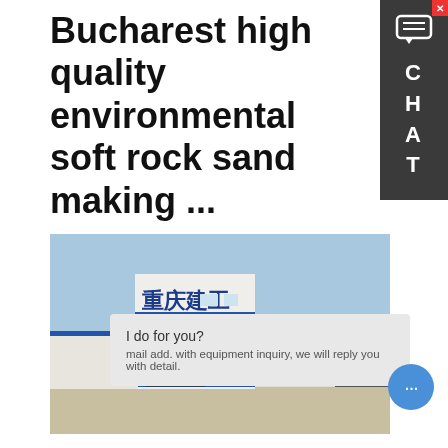Bucharest high quality environmental soft rock sand making ...
[Figure (photo): Industrial building with Chinese characters '重庆建工' on facade, a multi-story white and blue prefabricated factory/warehouse complex with flat concrete yard, trees in background and cloudy sky.]
Henan YG Machinery Co., Ltd located in Zhengzhou, Henan is a professional and reliable machinery manufacturer over twenty years. The main types of machinery we
I do for you?
mail add. with equipment inquiry, we will reply you with detail.